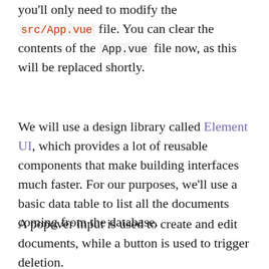you'll only need to modify the src/App.vue file. You can clear the contents of the App.vue file now, as this will be replaced shortly.
We will use a design library called Element UI, which provides a lot of reusable components that make building interfaces much faster. For our purposes, we'll use a basic data table to list all the documents coming from the database.
A popover input is used to create and edit documents, while a button is used to trigger deletion.